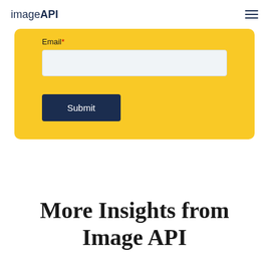imageAPI
Email *
Submit
More Insights from Image API